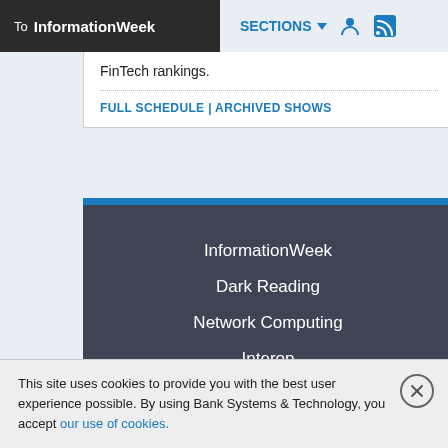To InformationWeek  SECTIONS
FinTech rankings.
FULL SCHEDULE | ARCHIVED SHOWS
InformationWeek
Dark Reading
Network Computing
Interop
This site uses cookies to provide you with the best user experience possible. By using Bank Systems & Technology, you accept our use of cookies.